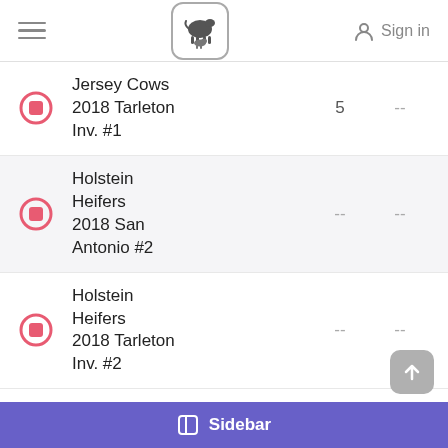Sign in
Jersey Cows 2018 Tarleton Inv. #1 | 5 | --
Holstein Heifers 2018 San Antonio #2 | -- | --
Holstein Heifers 2018 Tarleton Inv. #2 | -- | --
Sidebar